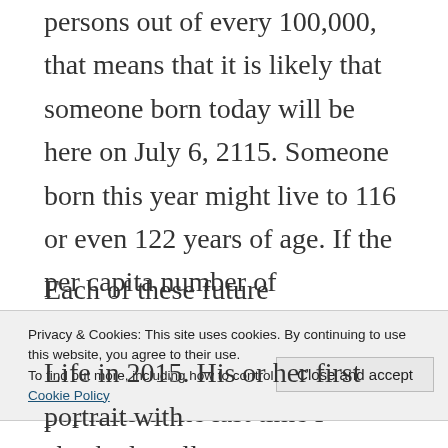persons out of every 100,000, that means that it is likely that someone born today will be here on July 6, 2115. Someone born this year might live to 116 or even 122 years of age. If the per capita number of centenarians will increase to 33%, which is one-third of the population the last time I checked, well, wow.
Each of these future centenarians born
Privacy & Cookies: This site uses cookies. By continuing to use this website, you agree to their use. To find out more, including how to control cookies, see here: Cookie Policy
Close and accept
Life in 2015. His or her first portrait with